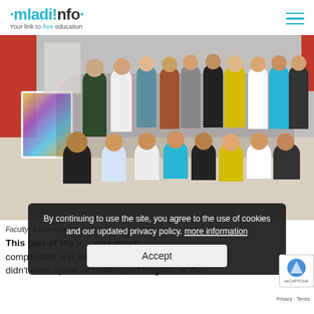mladi!nfo · Your link to free education
[Figure (photo): Group photo of students with a Faculty of Fine Arts member, standing and sitting on a gallery floor near a colorful painting, with a red wall in the background.]
Faculty of Fine Arts with the students from graphic des...
This part of the v... was much complicated and challenging. Most of the st... didn't even speak or understand English, or their